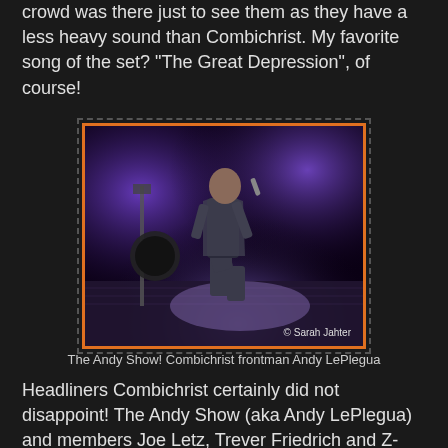crowd was there just to see them as they have a less heavy sound than Combichrist. My favorite song of the set? "The Great Depression", of course!
[Figure (photo): Concert photo of Combichrist frontman Andy LePlegua performing on stage under purple lights, kneeling with a microphone. Photo credit: © Sarah Jahter]
The Andy Show! Combichrist frontman Andy LePlegua
Headliners Combichrist certainly did not disappoint! The Andy Show (aka Andy LePlegua) and members Joe Letz, Trever Friedrich and Z-Marr, plus Wes Borland as a special guest on guitar, put on another skull-crushing show that left the audience bloodied but begging for more. This was the most polished Combichrist show I've seen, as they had